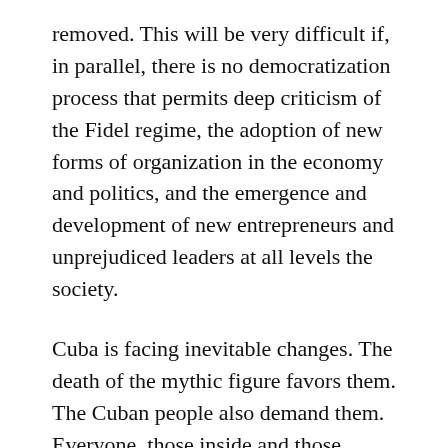removed. This will be very difficult if, in parallel, there is no democratization process that permits deep criticism of the Fidel regime, the adoption of new forms of organization in the economy and politics, and the emergence and development of new entrepreneurs and unprejudiced leaders at all levels the society.
Cuba is facing inevitable changes. The death of the mythic figure favors them. The Cuban people also demand them. Everyone, those inside and those outside, regardless of their political ideas, must have the right to participate in the reconstruction of the nation. Achieving it more or less peacefully will depend on those who still hold power in Cuba.